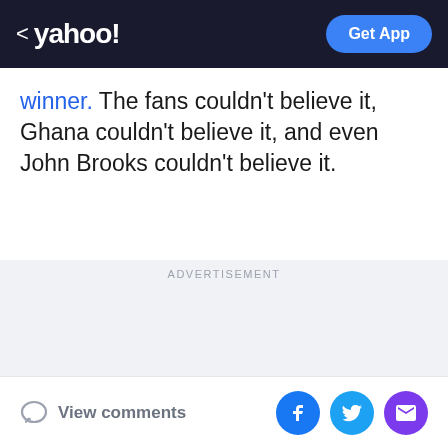< yahoo! Get App
winner. The fans couldn't believe it, Ghana couldn't believe it, and even John Brooks couldn't believe it.
ADVERTISEMENT
View comments